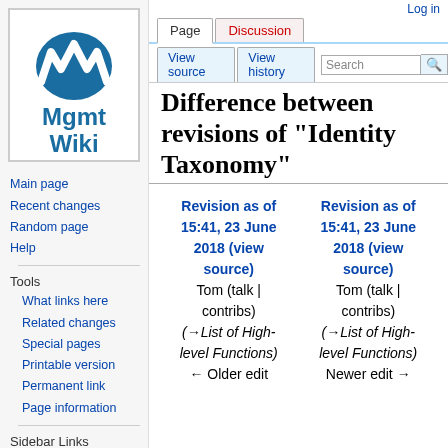[Figure (logo): Mgmt Wiki logo with blue M/W icon on white background]
Main page
Recent changes
Random page
Help
Tools
What links here
Related changes
Special pages
Printable version
Permanent link
Page information
Sidebar Links
back to tomjones
Log in
Difference between revisions of "Identity Taxonomy"
| Revision as of 15:41, 23 June 2018 (view source) | Revision as of 15:41, 23 June 2018 (view source) |
| --- | --- |
| Tom (talk | contribs) | Tom (talk | contribs) |
| (→List of High-level Functions) | (→List of High-level Functions) |
| ← Older edit | Newer edit → |